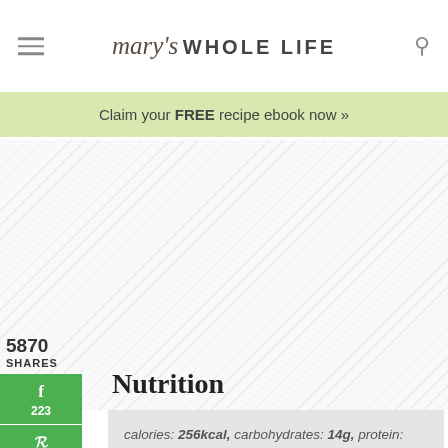mary's WHOLE LIFE
Claim your FREE recipe ebook now »
5870 SHARES
f 223
P 5647
Yum
Nutrition
calories: 256kcal, carbohydrates: 14g, protein: 14g, fat: 16g, saturated fat: 5g, cholesterol: 327mg, sodium: 506mg, potassium: 533mg,